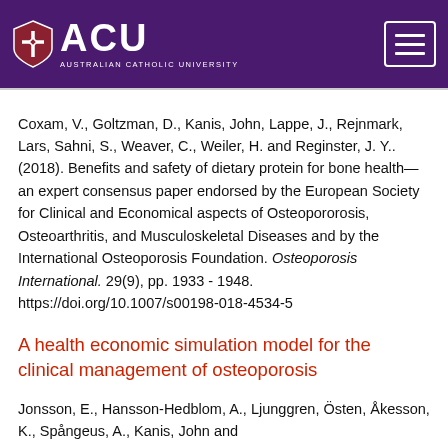ACU Australian Catholic University
Coxam, V., Goltzman, D., Kanis, John, Lappe, J., Rejnmark, Lars, Sahni, S., Weaver, C., Weiler, H. and Reginster, J. Y.. (2018). Benefits and safety of dietary protein for bone health—an expert consensus paper endorsed by the European Society for Clinical and Economical aspects of Osteopororosis, Osteoarthritis, and Musculoskeletal Diseases and by the International Osteoporosis Foundation. Osteoporosis International. 29(9), pp. 1933 - 1948. https://doi.org/10.1007/s00198-018-4534-5
A health economic simulation model for the clinical management of osteoporosis
Jonsson, E., Hansson-Hedblom, A., Ljunggren, Östen, Åkesson, K., Spångeus, A., Kanis, John and